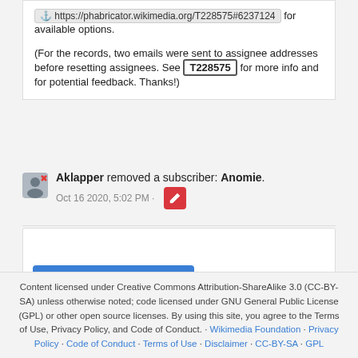https://phabricator.wikimedia.org/T228575#6237124 for available options. (For the records, two emails were sent to assignee addresses before resetting assignees. See T228575 for more info and for potential feedback. Thanks!)
Aklapper removed a subscriber: Anomie.
Oct 16 2020, 5:02 PM ·
[Figure (illustration): Red square edit/pencil icon button]
[Figure (illustration): Log In to Comment blue button]
Content licensed under Creative Commons Attribution-ShareAlike 3.0 (CC-BY-SA) unless otherwise noted; code licensed under GNU General Public License (GPL) or other open source licenses. By using this site, you agree to the Terms of Use, Privacy Policy, and Code of Conduct. · Wikimedia Foundation · Privacy Policy · Code of Conduct · Terms of Use · Disclaimer · CC-BY-SA · GPL